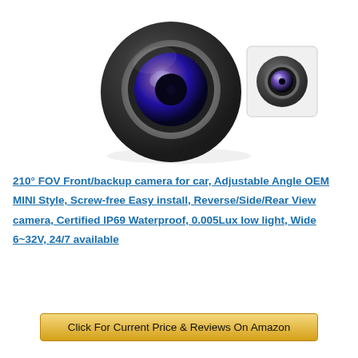[Figure (photo): Product photo of a 210° FOV front/backup camera for car. Two views: main camera (large, dark metallic dome with blue-tinted lens) and a smaller inset view of the camera mount.]
210° FOV Front/backup camera for car, Adjustable Angle OEM MINI Style, Screw-free Easy install, Reverse/Side/Rear View camera, Certified IP69 Waterproof, 0.005Lux low light, Wide 6~32V, 24/7 available
Click For Current Price & Reviews On Amazon
Back Up Camera Guide
A vehicle backup digital camera is a tool that is fastened on vehicles. The purpose of the digital camera is to assist